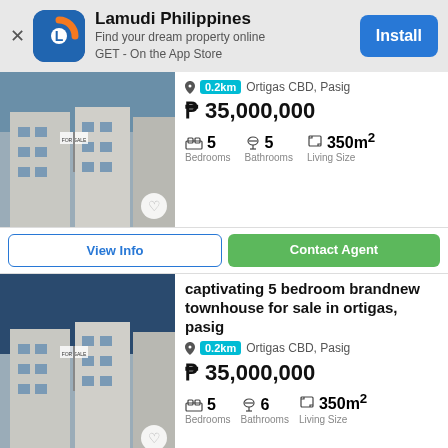[Figure (screenshot): Lamudi Philippines app banner with icon, app name, description, and Install button]
[Figure (photo): Photo of a townhouse building exterior, multi-story white/gray building]
0.2km  Ortigas CBD, Pasig
₱ 35,000,000
5 Bedrooms  5 Bathrooms  350m² Living Size
View Info   Contact Agent
[Figure (photo): Photo of same townhouse building exterior]
captivating 5 bedroom brandnew townhouse for sale in ortigas, pasig
0.2km  Ortigas CBD, Pasig
₱ 35,000,000
5 Bedrooms  6 Bathrooms  350m² Living Size
View Info   Contact Agent
[Figure (photo): Partial photo of Maple Townhouse interior]
Maple Townhouse in Ortigas East near Valle Verde Corinthians and